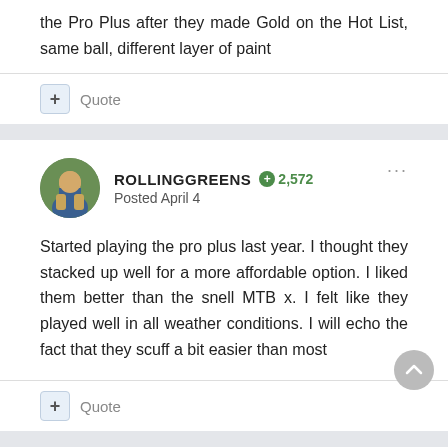the Pro Plus after they made Gold on the Hot List, same ball, different layer of paint
Quote
ROLLINGGREENS  2,572
Posted April 4
Started playing the pro plus last year. I thought they stacked up well for a more affordable option. I liked them better than the snell MTB x. I felt like they played well in all weather conditions. I will echo the fact that they scuff a bit easier than most
Quote
BARRYSCHWART750  70